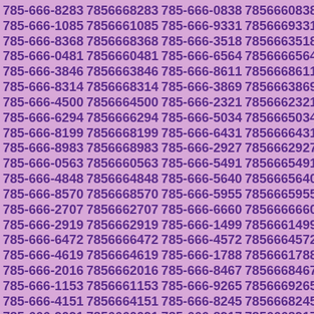785-666-8283 7856668283 785-666-0838 7856660838 785-666-1085 7856661085 785-666-9331 7856669331 785-666-8368 7856668368 785-666-3518 7856663518 785-666-0481 7856660481 785-666-6564 7856666564 785-666-3846 7856663846 785-666-8611 7856668611 785-666-8314 7856668314 785-666-3869 7856663869 785-666-4500 7856664500 785-666-2321 7856662321 785-666-6294 7856666294 785-666-5034 7856665034 785-666-8199 7856668199 785-666-6431 7856666431 785-666-8983 7856668983 785-666-2927 7856662927 785-666-0563 7856660563 785-666-5491 7856665491 785-666-4848 7856664848 785-666-5640 7856665640 785-666-8570 7856668570 785-666-5955 7856665955 785-666-2707 7856662707 785-666-6660 7856666660 785-666-2919 7856662919 785-666-1499 7856661499 785-666-6472 7856666472 785-666-4572 7856664572 785-666-4619 7856664619 785-666-1788 7856661788 785-666-2016 7856662016 785-666-8467 7856668467 785-666-1153 7856661153 785-666-9265 7856669265 785-666-4151 7856664151 785-666-8245 7856668245 785-666-9091 7856660091 785-666-8917 7856668917